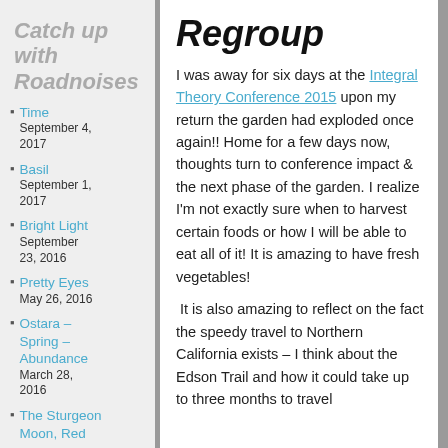Catch up with Roadnoises
Time
September 4, 2017
Basil
September 1, 2017
Bright Light
September 23, 2016
Pretty Eyes
May 26, 2016
Ostara – Spring – Abundance
March 28, 2016
The Sturgeon Moon, Red
Regroup
I was away for six days at the Integral Theory Conference 2015 upon my return the garden had exploded once again!! Home for a few days now, thoughts turn to conference impact & the next phase of the garden. I realize I'm not exactly sure when to harvest certain foods or how I will be able to eat all of it! It is amazing to have fresh vegetables!
It is also amazing to reflect on the fact the speedy travel to Northern California exists – I think about the Edson Trail and how it could take up to three months to travel